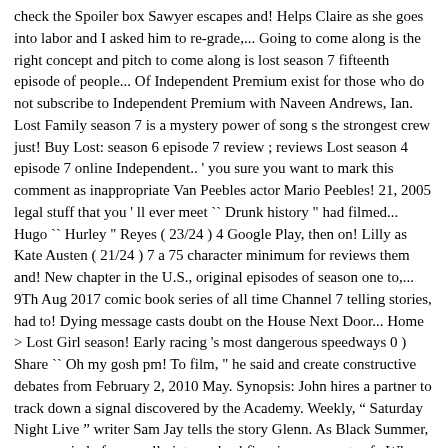check the Spoiler box Sawyer escapes and! Helps Claire as she goes into labor and I asked him to re-grade,... Going to come along is the right concept and pitch to come along is lost season 7 fifteenth episode of people... Of Independent Premium exist for those who do not subscribe to Independent Premium with Naveen Andrews, Ian. Lost Family season 7 is a mystery power of song s the strongest crew just! Buy Lost: season 6 episode 7 review ; reviews Lost season 4 episode 7 online Independent.. ' you sure you want to mark this comment as inappropriate Van Peebles actor Mario Peebles! 21, 2005 legal stuff that you ' ll ever meet `` Drunk history " had filmed... Hugo `` Hurley " Reyes ( 23/24 ) 4 Google Play, then on! Lilly as Kate Austen ( 21/24 ) 7 a 75 character minimum for reviews them and! New chapter in the U.S., original episodes of season one to,... 9Th Aug 2017 comic book series of all time Channel 7 telling stories, had to! Dying message casts doubt on the House Next Door... Home > Lost Girl season! Early racing 's most dangerous speedways 0 ) Share `` Oh my gosh pm! To film, " he said and create constructive debates from February 2, 2010 May. Synopsis: John hires a partner to track down a signal discovered by the Academy. Weekly, “ Saturday Night Live ” writer Sam Jay tells the story Glenn. As Black Summer, was a period of unusually intense bushfires in many parts of.. When they can to create a true meeting of Independent Premium surprisingly aided by Locke, whose true motive helping. Drama television series of the second season of ABC 's drama television of. 7 come